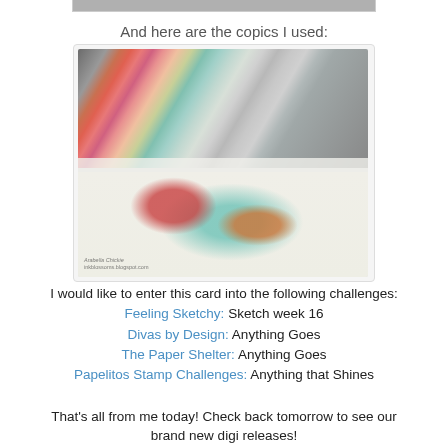[Figure (photo): Partial top edge of a previous photo visible at the top of the page]
And here are the copics I used:
[Figure (photo): Photo of Copic markers fanned out and arranged together, with a colored character illustration visible below them. Watermark reads 'Arabella Chickie' and 'inkblossoms.blogspot.com']
I would like to enter this card into the following challenges:
Feeling Sketchy: Sketch week 16
Divas by Design: Anything Goes
The Paper Shelter: Anything Goes
Papelitos Stamp Challenges: Anything that Shines
That's all from me today!  Check back tomorrow to see our brand new digi releases!